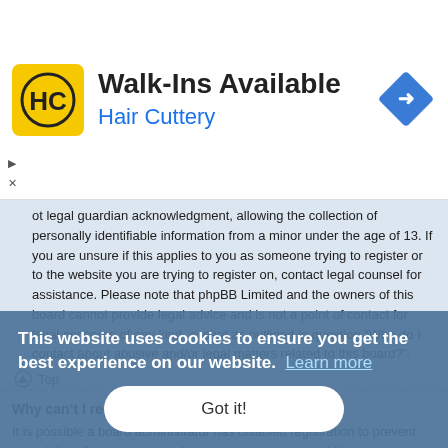[Figure (logo): Hair Cuttery advertisement banner with HC logo, text 'Walk-Ins Available' and 'Hair Cuttery', and a navigation/directions diamond icon]
ot legal guardian acknowledgment, allowing the collection of personally identifiable information from a minor under the age of 13. If you are unsure if this applies to you as someone trying to register or to the website you are trying to register on, contact legal counsel for assistance. Please note that phpBB Limited and the owners of this board cannot provide legal advice and is not a point of contact for legal concerns of any kind, except as outlined in question “Who do I contact about abusive and/or legal matters related to this board?”.
Top
Why can’t I register?
It is possible a board administrator has disabled registration to prevent new visitors from signing up. A board administrator could have also banned your IP address or disallowed the username you are attempting to register. Contact a board administrator for assistance.
Top
I registered but cannot login!
First, check your username and password. If they are correct, then one of two things may have happened. If COPPA support is enabled and you specified
This website uses cookies to ensure you get the best experience on our website.  Learn more
Got it!